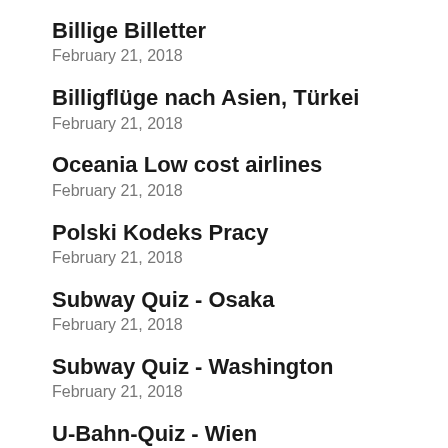Billige Billetter
February 21, 2018
Billigflüge nach Asien, Türkei
February 21, 2018
Oceania Low cost airlines
February 21, 2018
Polski Kodeks Pracy
February 21, 2018
Subway Quiz - Osaka
February 21, 2018
Subway Quiz - Washington
February 21, 2018
U-Bahn-Quiz - Wien
February 21, 2018
Lung Sounds